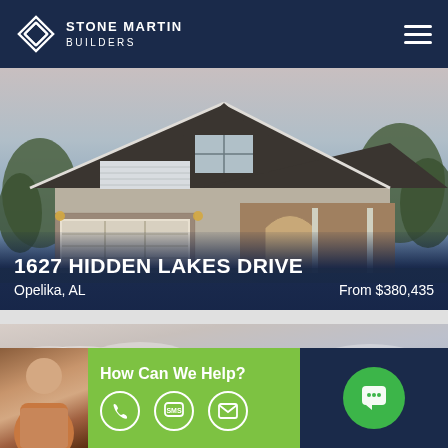Stone Martin Builders
[Figure (photo): Rendered exterior photo of a craftsman-style house with stone accents, dark roof, white trim, two-car garage, covered porch, and trees in the background. Text overlay shows address and price.]
1627 HIDDEN LAKES DRIVE
Opelika, AL   From $380,435
[Figure (photo): Sky with clouds in pastel tones, partially cut off at bottom by CTA bar.]
How Can We Help?